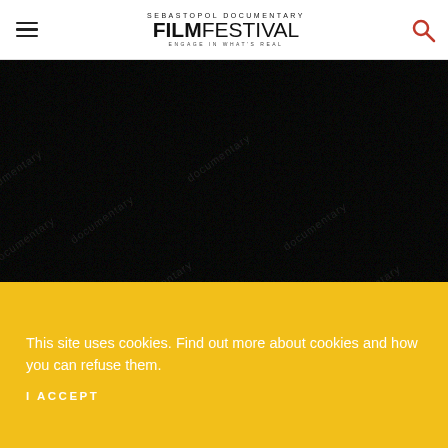Sebastopol Documentary Film Festival — Engage in What's Real
[Figure (photo): Dark noisy/static texture hero image, nearly black with faint colored noise, diagonal watermark text repeated across image]
This site uses cookies. Find out more about cookies and how you can refuse them.
I ACCEPT